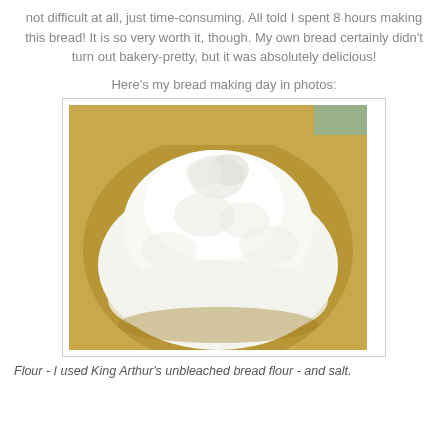not difficult at all, just time-consuming. All told I spent 8 hours making this bread! It is so very worth it, though. My own bread certainly didn't turn out bakery-pretty, but it was absolutely delicious!
Here's my bread making day in photos:
[Figure (photo): A large mound of white flour in a tan/brown mixing bowl, photographed from above.]
Flour - I used King Arthur's unbleached bread flour - and salt.